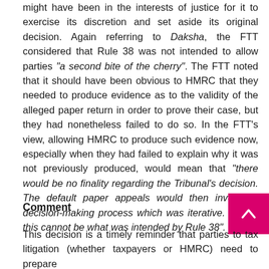might have been in the interests of justice for it to exercise its discretion and set aside its original decision. Again referring to Daksha, the FTT considered that Rule 38 was not intended to allow parties "a second bite of the cherry". The FTT noted that it should have been obvious to HMRC that they needed to produce evidence as to the validity of the alleged paper return in order to prove their case, but they had nonetheless failed to do so. In the FTT's view, allowing HMRC to produce such evidence now, especially when they had failed to explain why it was not previously produced, would mean that "there would be no finality regarding the Tribunal's decision. The default paper appeals would then involve a decision-making process which was iterative. Plainly this cannot be what was intended by Rule 38".
Comment
This decision is a timely reminder that parties to tax litigation (whether taxpayers or HMRC) need to prepare